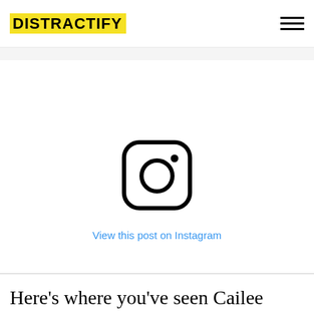DISTRACTIFY
[Figure (screenshot): Instagram embed placeholder showing Instagram camera icon and 'View this post on Instagram' link in blue]
View this post on Instagram
Here's where you've seen Cailee before.